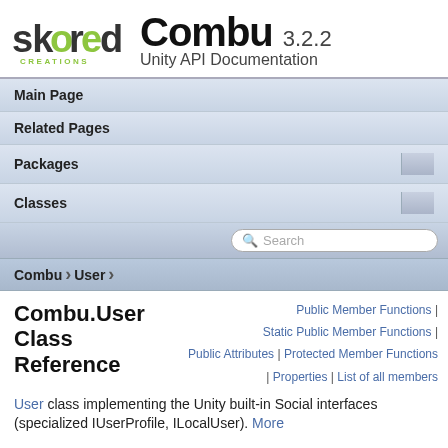[Figure (logo): Skored Creations logo with stylized text and green 'o' characters]
Combu 3.2.2 Unity API Documentation
Main Page
Related Pages
Packages
Classes
Search
Combu > User
Public Member Functions | Static Public Member Functions | Public Attributes | Protected Member Functions | Properties | List of all members
Combu.User Class Reference
User class implementing the Unity built-in Social interfaces (specialized IUserProfile, ILocalUser). More